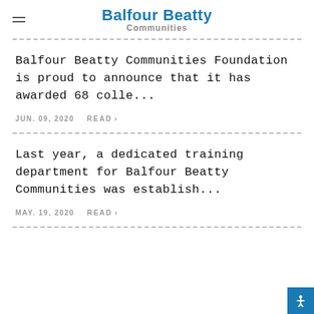Balfour Beatty Communities
Balfour Beatty Communities Foundation is proud to announce that it has awarded 68 colle...
JUN. 09, 2020  READ >
Last year, a dedicated training department for Balfour Beatty Communities was establish...
MAY. 19, 2020  READ >